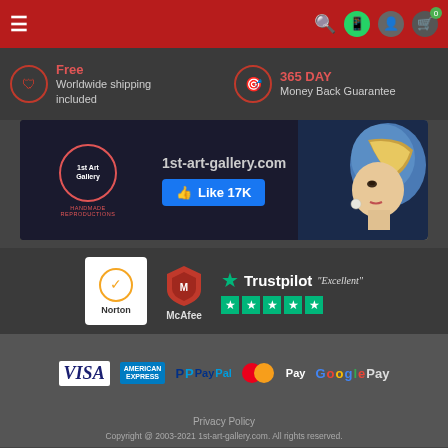Navigation bar with hamburger menu, search, WhatsApp, user, and cart icons on red background
Free Worldwide shipping included
365 DAY Money Back Guarantee
[Figure (screenshot): 1st Art Gallery Facebook page banner showing logo, '1st-art-gallery.com' URL, a Like button with 17K likes, and a painting of Girl with a Pearl Earring]
[Figure (logo): Security trust badges: Norton, McAfee, Trustpilot with Excellent rating and 5 green stars]
[Figure (logo): Payment method logos: VISA, American Express, PayPal, Mastercard, Apple Pay, G Pay]
Privacy Policy
Copyright @ 2003-2021 1st-art-gallery.com. All rights reserved.